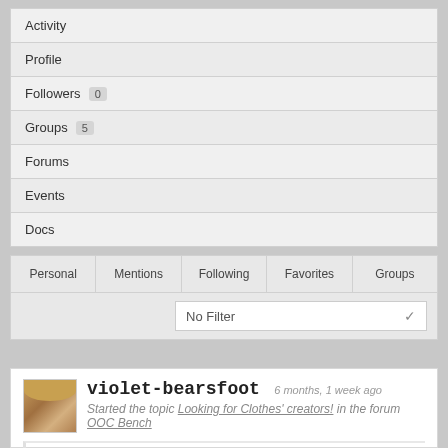Activity
Profile
Followers 0
Groups 5
Forums
Events
Docs
| Personal | Mentions | Following | Favorites | Groups |
| --- | --- | --- | --- | --- |
No Filter
violet-bearsfoot   6 months, 1 week ago
Started the topic Looking for Clothes' creators! in the forum OOC Bench
Hey all!  The Fire Department is in desperate need of